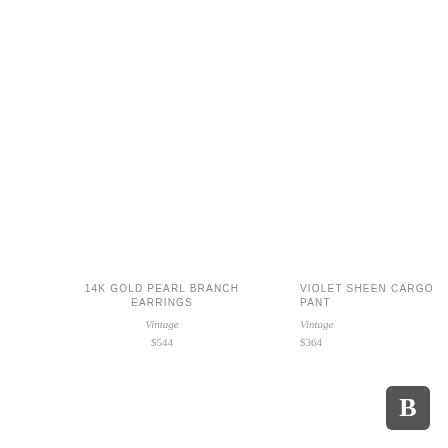14K GOLD PEARL BRANCH EARRINGS
Vintage
$544
VIOLET SHEEN CARGO PANT
Vintage
$364
[Figure (logo): Dark grey rounded square badge with white letter B]